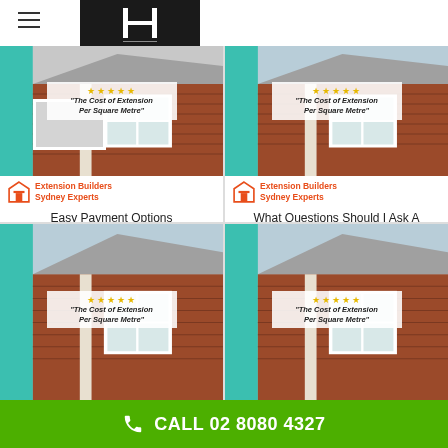[Figure (logo): Hometek logo with H symbol on dark background]
[Figure (photo): Card 1: House extension photo with stars overlay and Extension Builders Sydney Experts badge]
Easy Payment Options
[Figure (photo): Card 2: House extension photo with stars overlay and Extension Builders Sydney Experts badge]
What Questions Should I Ask A Landscape Designer? Close To Sutherland Shire Council NSW
[Figure (photo): Card 3: House extension photo with stars overlay]
[Figure (photo): Card 4: House extension photo with stars overlay]
CALL 02 8080 4327